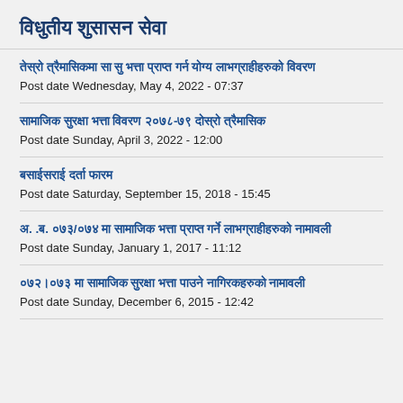विधुतीय शुसासन सेवा
तेस्रो त्रैमासिकमा सा सु भत्ता प्राप्त गर्न योग्य लाभग्राहीहरुको विवरण
Post date Wednesday, May 4, 2022 - 07:37
सामाजिक सुरक्षा भत्ता विवरण २०७८-७९ दोस्रो त्रैमासिक
Post date Sunday, April 3, 2022 - 12:00
बसाईसराई दर्ता फारम
Post date Saturday, September 15, 2018 - 15:45
अ. .ब. ०७३/०७४ मा सामाजिक भत्ता प्राप्त गर्ने लाभग्राहीहरुको नामावली
Post date Sunday, January 1, 2017 - 11:12
०७२।०७३ मा सामाजिक सुरक्षा भत्ता पाउने नागिरकहरुको नामावली
Post date Sunday, December 6, 2015 - 12:42